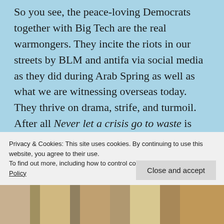So you see, the peace-loving Democrats together with Big Tech are the real warmongers. They incite the riots in our streets by BLM and antifa via social media as they did during Arab Spring as well as what we are witnessing overseas today. They thrive on drama, strife, and turmoil. After all Never let a crisis go to waste is their mantra or in this case: “Cause a crisis and never let it go” like the capitol riot of 2021.
Vote the foxes out in 2022. They can’t be
Privacy & Cookies: This site uses cookies. By continuing to use this website, you agree to their use.
To find out more, including how to control cookies, see here: Cookie Policy
[Figure (photo): Bottom strip showing a partial photo of what appears to be an animal with fur/foliage, cropped at bottom of page]